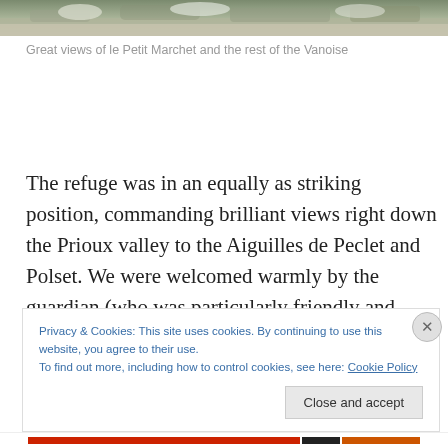[Figure (photo): Top portion of a mountain/rocky landscape photo showing snowy or rocky terrain, partially cropped at the top of the page.]
Great views of le Petit Marchet and the rest of the Vanoise
The refuge was in an equally as striking position, commanding brilliant views right down the Prioux valley to the Aiguilles de Peclet and Polset. We were welcomed warmly by the guardian (who was particularly friendly and spoke very good English), and we paid our €3.70 each for
Privacy & Cookies: This site uses cookies. By continuing to use this website, you agree to their use.
To find out more, including how to control cookies, see here: Cookie Policy
Close and accept